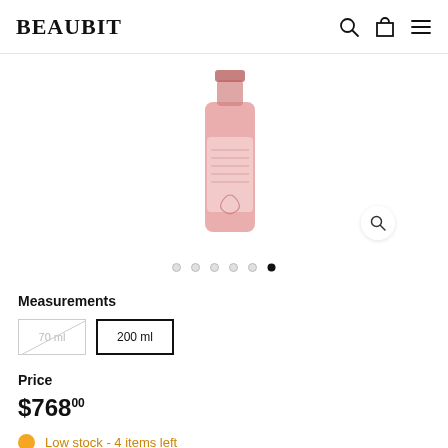BEAUBIT
[Figure (photo): Product photo of a pink/rose-tinted glass bottle with label, shown in a centered image carousel with partial side panels visible]
• • • • • •  (6 carousel dots, last one filled/active)
Measurements
70 ml (unavailable/strikethrough)  200 ml (selected)
Price
$76800
Low stock - 4 items left